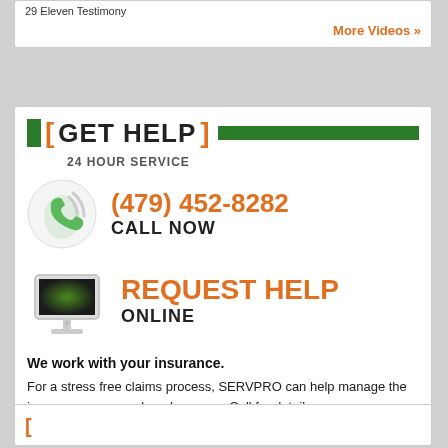29 Eleven Testimony
More Videos »
[ GET HELP ] 24 HOUR SERVICE
(479) 452-8282 CALL NOW
[Figure (illustration): Green phone handset with wifi/signal waves icon inside circular border]
[Figure (illustration): Computer monitor with green glowing screen icon]
REQUEST HELP ONLINE
We work with your insurance.
For a stress free claims process, SERVPRO can help manage the insurance paperwork and process. Call for details.